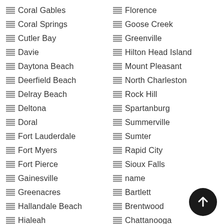Coral Gables
Coral Springs
Cutler Bay
Davie
Daytona Beach
Deerfield Beach
Delray Beach
Deltona
Doral
Fort Lauderdale
Fort Myers
Fort Pierce
Gainesville
Greenacres
Hallandale Beach
Hialeah
Florence
Goose Creek
Greenville
Hilton Head Island
Mount Pleasant
North Charleston
Rock Hill
Spartanburg
Summerville
Sumter
Rapid City
Sioux Falls
name
Bartlett
Brentwood
Chattanooga